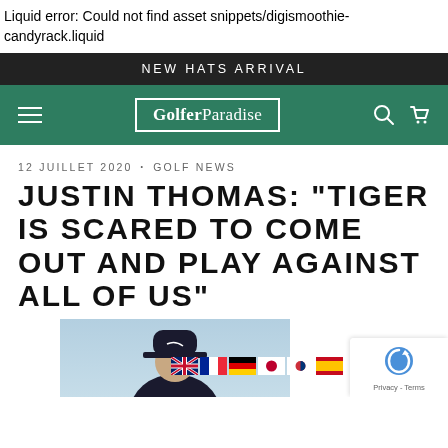Liquid error: Could not find asset snippets/digismoothie-candyrack.liquid
NEW HATS ARRIVAL
[Figure (screenshot): GolferParadise navigation bar with hamburger menu, logo in white bordered box, search and cart icons on dark green background]
12 JUILLET 2020 • GOLF NEWS
JUSTIN THOMAS: "TIGER IS SCARED TO COME OUT AND PLAY AGAINST ALL OF US"
[Figure (photo): Person wearing dark cap, partially visible at bottom of page, against light blue sky background]
[Figure (other): reCAPTCHA badge with Privacy - Terms text, and language flag icons (UK, France, Germany, Japan, Korea, Spain)]